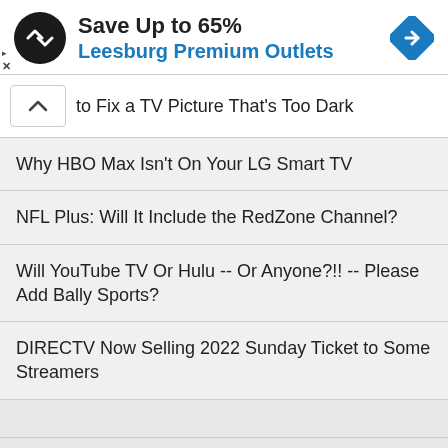[Figure (screenshot): Advertisement banner: Save Up to 65% Leesburg Premium Outlets with logo and navigation icon]
to Fix a TV Picture That's Too Dark
Why HBO Max Isn't On Your LG Smart TV
NFL Plus: Will It Include the RedZone Channel?
Will YouTube TV Or Hulu -- Or Anyone?!! -- Please Add Bally Sports?
DIRECTV Now Selling 2022 Sunday Ticket to Some Streamers